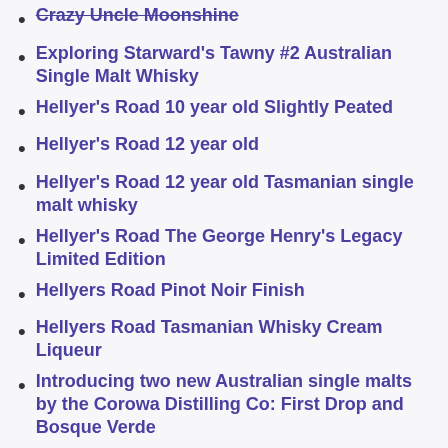Crazy Uncle Moonshine
Exploring Starward's Tawny #2 Australian Single Malt Whisky
Hellyer's Road 10 year old Slightly Peated
Hellyer's Road 12 year old
Hellyer's Road 12 year old Tasmanian single malt whisky
Hellyer's Road The George Henry's Legacy Limited Edition
Hellyers Road Pinot Noir Finish
Hellyers Road Tasmanian Whisky Cream Liqueur
Introducing two new Australian single malts by the Corowa Distilling Co: First Drop and Bosque Verde
Joadja Distillery Ex-Oloroso Cask (batch 4) and Ex-Pedro Ximénez Cask (batch 5) single malts: Two new Aussie